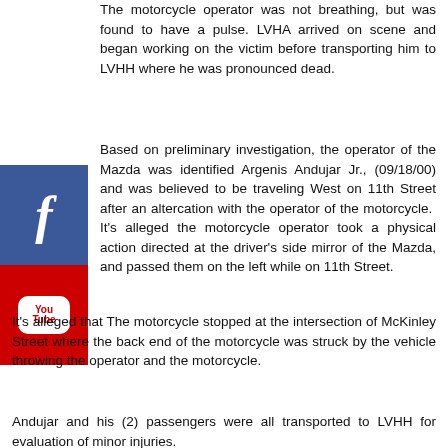The motorcycle operator was not breathing, but was found to have a pulse. LVHA arrived on scene and began working on the victim before transporting him to LVHH where he was pronounced dead.
Based on preliminary investigation, the operator of the Mazda was identified Argenis Andujar Jr., (09/18/00) and was believed to be traveling West on 11th Street after an altercation with the operator of the motorcycle. It's alleged the motorcycle operator took a physical action directed at the driver's side mirror of the Mazda, and passed them on the left while on 11th Street.
[Figure (logo): Facebook logo icon — blue square with white letter f]
[Figure (logo): YouTube logo icon — red square with white YouTube play button symbol]
It's alleged that The motorcycle stopped at the intersection of McKinley Street where the back end of the motorcycle was struck by the vehicle throwing the operator and the motorcycle.
Andujar and his (2) passengers were all transported to LVHH for evaluation of minor injuries.